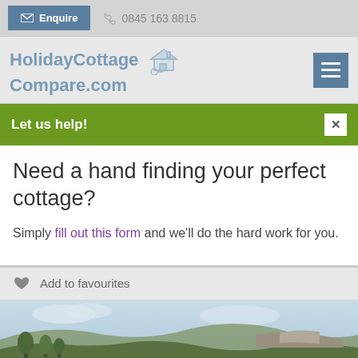Enquire   0845 163 8815
[Figure (logo): HolidayCottageCompare.com logo with cottage icon]
Let us help!
Need a hand finding your perfect cottage?
Simply fill out this form and we'll do the hard work for you.
Add to favourites
[Figure (photo): Landscape photo showing hills with trees and cloudy sky]